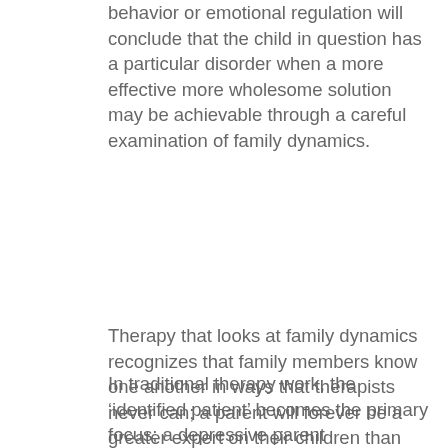behavior or emotional regulation will conclude that the child in question has a particular disorder when a more effective more wholesome solution may be achievable through a careful examination of family dynamics.
Therapy that looks at family dynamics recognizes that family members know one another in ways that therapists never can; a parent will forever be a greater expert on their children than the most keenly perceptive therapist. This means that our role in therapies concerned with family dynamics is to help the individual members learn by looking at their lives from a dispassionate, holistic perspective.
In traditional therapy work, the ‘identified patient’ becomes the primary focus; a depressive parent